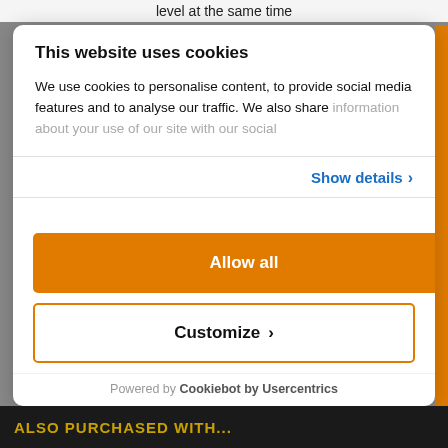level at the same time
This website uses cookies
We use cookies to personalise content, to provide social media features and to analyse our traffic. We also share information about your use of our site with our social
Show details ›
Allow all
Customize ›
Powered by Cookiebot by Usercentrics
ALSO PURCHASED WITH...